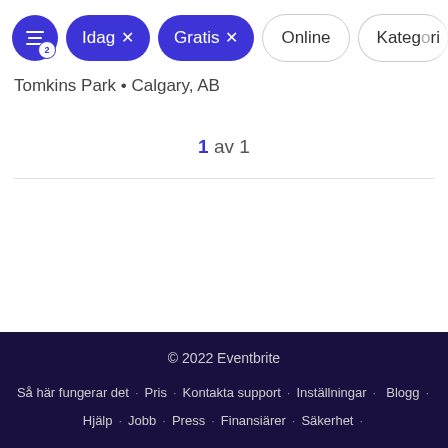[Figure (screenshot): Filter toolbar with active filter chips: a filter icon button with badge '2', filled blue chips 'Idag x' and 'Gratis x', and outline chips 'Online' and 'Kategori']
Tomkins Park • Calgary, AB
1 av 1
© 2022 Eventbrite · Så här fungerar det · Pris · Kontakta support · Inställningar · Blogg · Hjälp · Jobb · Press · Finansiärer · Säkerhet ·